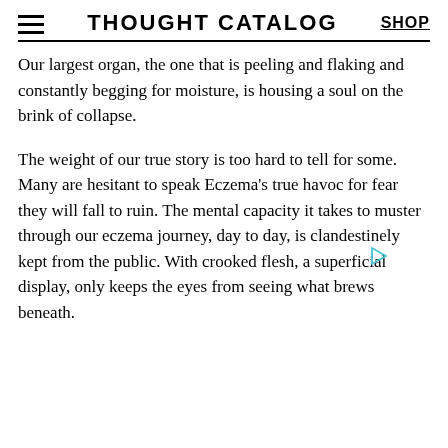THOUGHT CATALOG | SHOP
Our largest organ, the one that is peeling and flaking and constantly begging for moisture, is housing a soul on the brink of collapse.
The weight of our true story is too hard to tell for some. Many are hesitant to speak Eczema's true havoc for fear they will fall to ruin. The mental capacity it takes to muster through our eczema journey, day to day, is clandestinely kept from the public. With crooked flesh, a superficial display, only keeps the eyes from seeing what brews beneath.
[Figure (other): Small triangular play/ad icon in cyan/teal color]